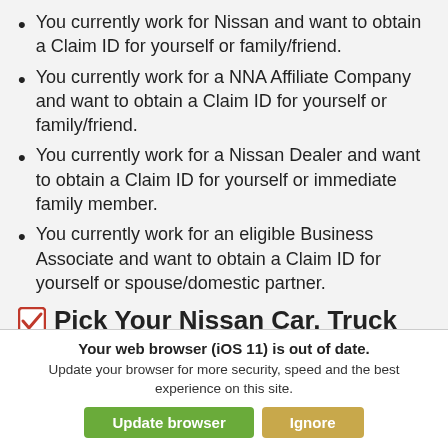You currently work for Nissan and want to obtain a Claim ID for yourself or family/friend.
You currently work for a NNA Affiliate Company and want to obtain a Claim ID for yourself or family/friend.
You currently work for a Nissan Dealer and want to obtain a Claim ID for yourself or immediate family member.
You currently work for an eligible Business Associate and want to obtain a Claim ID for yourself or spouse/domestic partner.
Pick Your Nissan Car, Truck or SUV
It's as easy as can be. Pick the vehicle you want, with the options that you want, in the color that you want. Best of all, get it without any haggling over the price. Enjoy your new Nissan!
Your web browser (iOS 11) is out of date. Update your browser for more security, speed and the best experience on this site.